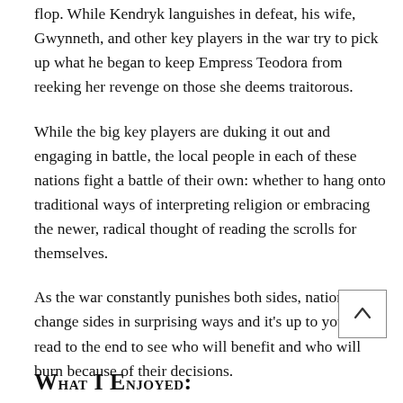flop. While Kendryk languishes in defeat, his wife, Gwynneth, and other key players in the war try to pick up what he began to keep Empress Teodora from reeking her revenge on those she deems traitorous.
While the big key players are duking it out and engaging in battle, the local people in each of these nations fight a battle of their own: whether to hang onto traditional ways of interpreting religion or embracing the newer, radical thought of reading the scrolls for themselves.
As the war constantly punishes both sides, nations will change sides in surprising ways and it's up to you to read to the end to see who will benefit and who will burn because of their decisions.
What I Enjoyed: